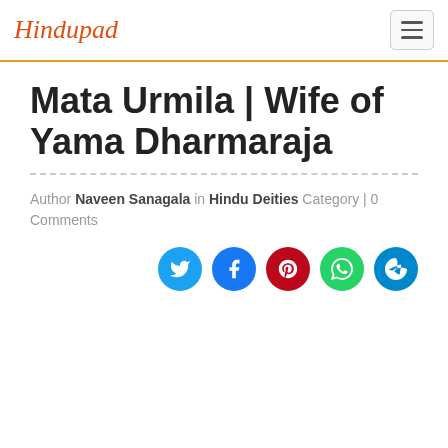Hindupad
Mata Urmila | Wife of Yama Dharmaraja
Author Naveen Sanagala in Hindu Deities Category | 0 Comments
[Figure (infographic): Row of five social sharing icon circles: Twitter (blue), Facebook (dark blue), Pinterest (red), WhatsApp (green), Telegram (cyan-blue)]